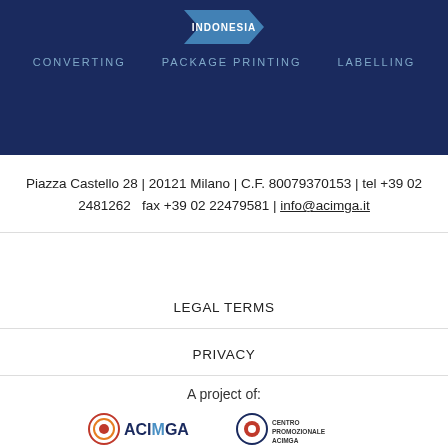[Figure (logo): Top banner with dark navy blue background showing INDONESIA logo with Converting, Package Printing, Labelling navigation]
Piazza Castello 28 | 20121 Milano | C.F. 80079370153 | tel +39 02 2481262   fax +39 02 22479581 | info@acimga.it
LEGAL TERMS
PRIVACY
A project of:
[Figure (logo): Logos of Pamerindo Indonesia and UBM Allworld Exhibitions]
[Figure (logo): Logos of ACIMGA and Centro Promozionale ACIMGA]